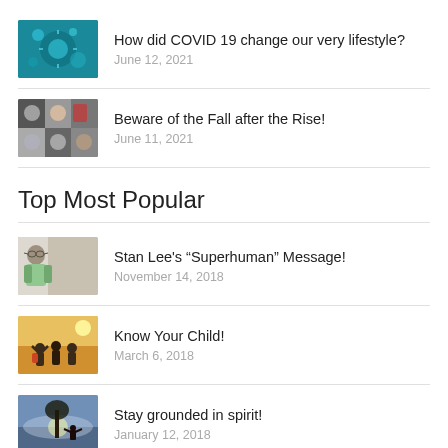How did COVID 19 change our very lifestyle?
June 12, 2021
Beware of the Fall after the Rise!
June 11, 2021
Top Most Popular
Stan Lee's “Superhuman” Message!
November 14, 2018
Know Your Child!
March 6, 2018
Stay grounded in spirit!
January 12, 2018